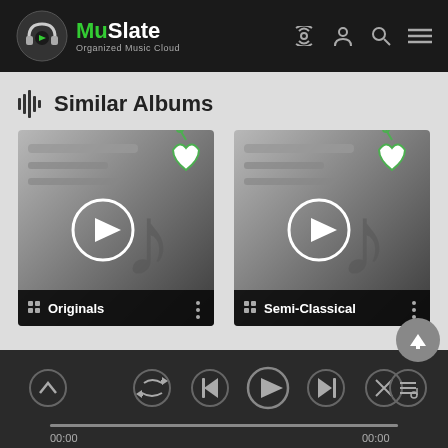MuSlate – Organized Music Cloud
Similar Albums
[Figure (screenshot): Album card for 'Originals' with play button, heart/bookmark icon, and three-dot menu]
[Figure (screenshot): Album card for 'Semi-Classical' with play button, heart/bookmark icon, and three-dot menu]
[Figure (screenshot): Music player bar with playback controls (repeat, previous, play, next, shuffle), progress bar showing 00:00 / 00:00, chevron-up button, and playlist button]